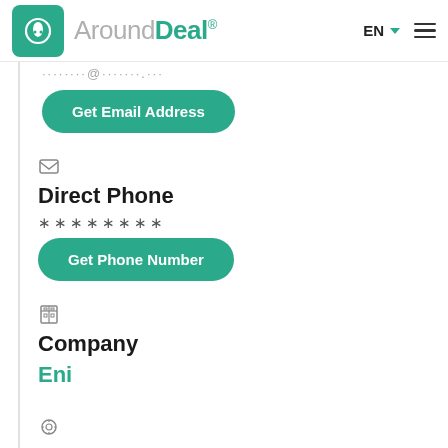AroundDeal EN
········@·······.···
Get Email Address
Direct Phone
********
Get Phone Number
Company
Eni